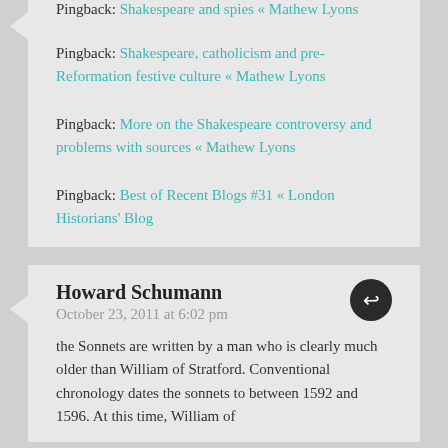Pingback: Shakespeare and spies « Mathew Lyons
Pingback: Shakespeare, catholicism and pre-Reformation festive culture « Mathew Lyons
Pingback: More on the Shakespeare controversy and problems with sources « Mathew Lyons
Pingback: Best of Recent Blogs #31 « London Historians' Blog
Howard Schumann
October 23, 2011 at 6:02 pm
the Sonnets are written by a man who is clearly much older than William of Stratford. Conventional chronology dates the sonnets to between 1592 and 1596. At this time, William of